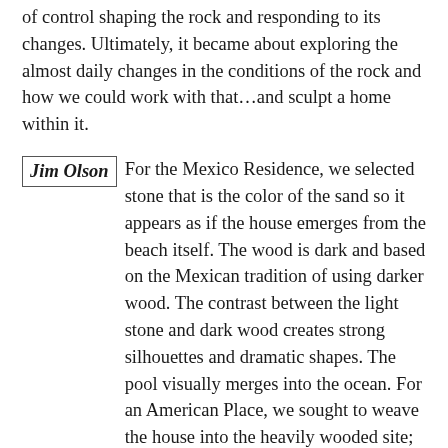of control shaping the rock and responding to its changes. Ultimately, it became about exploring the almost daily changes in the conditions of the rock and how we could work with that…and sculpt a home within it.
Jim Olson  For the Mexico Residence, we selected stone that is the color of the sand so it appears as if the house emerges from the beach itself. The wood is dark and based on the Mexican tradition of using darker wood. The contrast between the light stone and dark wood creates strong silhouettes and dramatic shapes. The pool visually merges into the ocean. For an American Place, we sought to weave the house into the heavily wooded site; the house shifts back and forth to preserve as many of the existing trees as possible—only one tree had to be removed for the construction of this house. All of the colors we used for the house find their inspiration right on site. The color of the wood used in the house matches the color of the bark of the trees found on site.